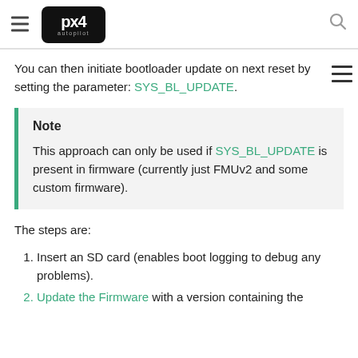PX4 Autopilot
You can then initiate bootloader update on next reset by setting the parameter: SYS_BL_UPDATE.
Note
This approach can only be used if SYS_BL_UPDATE is present in firmware (currently just FMUv2 and some custom firmware).
The steps are:
Insert an SD card (enables boot logging to debug any problems).
Update the Firmware with a version containing the...